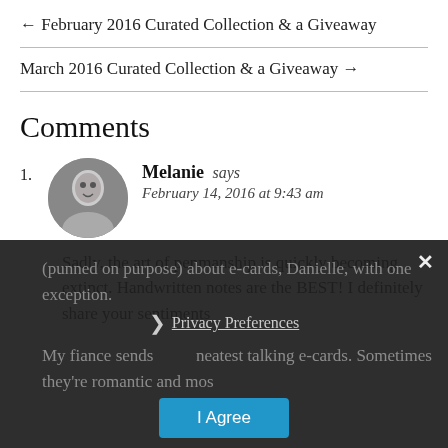← February 2016 Curated Collection & a Giveaway
March 2016 Curated Collection & a Giveaway →
Comments
Melanie says
February 14, 2016 at 9:43 am
Sadly, the art of penmanship is quickly becoming extinct. Handwritten notes are the BEST! I definitely share your sentiments (punned on purpose) about e-cards, Danielle, with one exception.

My fiance sends the neatest talking e-cards. Sometimes they're romantic and mos
Privacy Preferences
I Agree